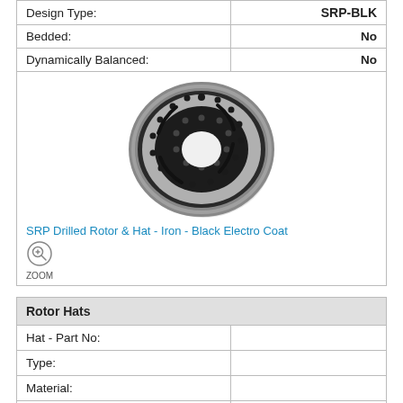| Design Type: | SRP-BLK |
| --- | --- |
| Bedded: | No |
| Dynamically Balanced: | No |
[Figure (photo): SRP drilled and slotted brake rotor with black electro coat finish, showing the hat and rotor disc from an angled perspective view.]
SRP Drilled Rotor & Hat - Iron - Black Electro Coat
| Rotor Hats |  |
| --- | --- |
| Hat - Part No: |  |
| Type: |  |
| Material: |  |
| Finish Color: |  |